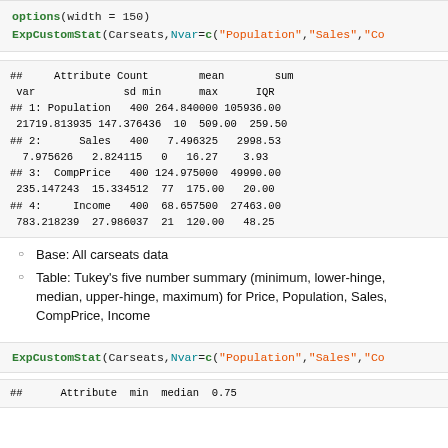options(width = 150)
ExpCustomStat(Carseats,Nvar=c("Population","Sales","Co
##     Attribute Count        mean        sum
 var              sd min      max      IQR
## 1: Population   400 264.840000 105936.00
 21719.813935 147.376436  10  509.00  259.50
## 2:      Sales   400   7.496325   2998.53
  7.975626   2.824115   0   16.27    3.93
## 3:  CompPrice   400 124.975000  49990.00
 235.147243  15.334512  77  175.00   20.00
## 4:     Income   400  68.657500  27463.00
 783.218239  27.986037  21  120.00   48.25
Base: All carseats data
Table: Tukey's five number summary (minimum, lower-hinge, median, upper-hinge, maximum) for Price, Population, Sales, CompPrice, Income
ExpCustomStat(Carseats,Nvar=c("Population","Sales","Co
##      Attribute  min  median  0.75